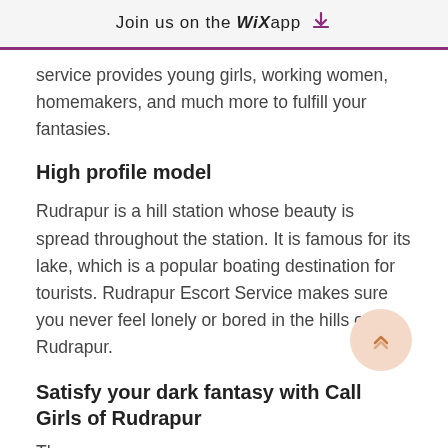Join us on the WiX app ↓
service provides young girls, working women, homemakers, and much more to fulfill your fantasies.
High profile model
Rudrapur is a hill station whose beauty is spread throughout the station. It is famous for its lake, which is a popular boating destination for tourists. Rudrapur Escort Service makes sure you never feel lonely or bored in the hills of Rudrapur.
Satisfy your dark fantasy with Call Girls of Rudrapur
The...